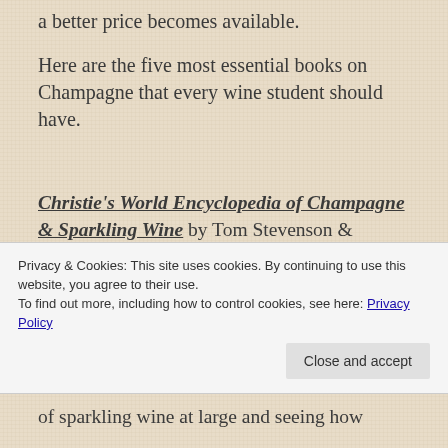a better price becomes available.
Here are the five most essential books on Champagne that every wine student should have.
Christie's World Encyclopedia of Champagne & Sparkling Wine by Tom Stevenson & Master of Wine Essi Avellan (Used starting at $29.97)
The Christie's encyclopedia is ground zero
Privacy & Cookies: This site uses cookies. By continuing to use this website, you agree to their use.
To find out more, including how to control cookies, see here: Privacy Policy
of sparkling wine at large and seeing how